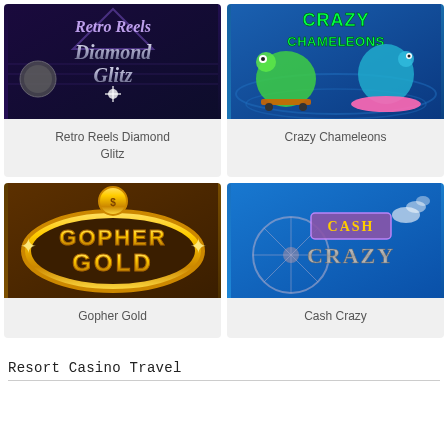[Figure (illustration): Retro Reels Diamond Glitz slot game logo — purple/dark background with stylized cursive white text]
Retro Reels Diamond Glitz
[Figure (illustration): Crazy Chameleons slot game logo — blue background with cartoon chameleon characters on skateboards and neon green title text]
Crazy Chameleons
[Figure (illustration): Gopher Gold slot game logo — dark golden background with large shiny gold 3D text]
Gopher Gold
[Figure (illustration): Cash Crazy slot game logo — bright blue background with stylized metallic title text and bicycle wheel motif]
Cash Crazy
Resort Casino Travel